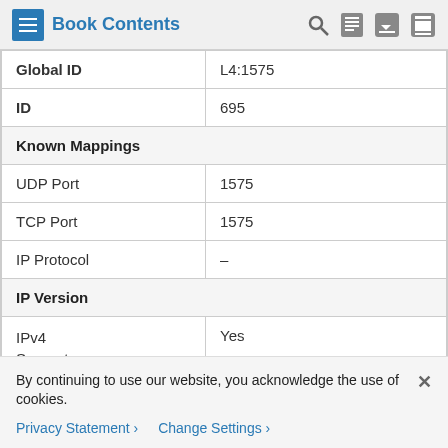Book Contents
| Global ID | L4:1575 |
| ID | 695 |
| Known Mappings |  |
| UDP Port | 1575 |
| TCP Port | 1575 |
| IP Protocol | – |
| IP Version |  |
| IPv4 Support | Yes |
By continuing to use our website, you acknowledge the use of cookies.
Privacy Statement > Change Settings >